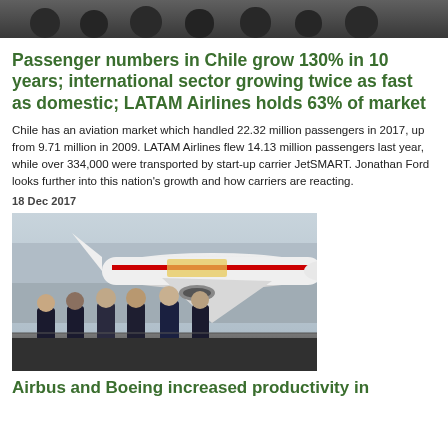[Figure (photo): Top portion of a group photo (cropped), showing people standing in front of an aircraft]
Passenger numbers in Chile grow 130% in 10 years; international sector growing twice as fast as domestic; LATAM Airlines holds 63% of market
Chile has an aviation market which handled 22.32 million passengers in 2017, up from 9.71 million in 2009. LATAM Airlines flew 14.13 million passengers last year, while over 334,000 were transported by start-up carrier JetSMART. Jonathan Ford looks further into this nation's growth and how carriers are reacting.
18 Dec 2017
[Figure (photo): Six men in business suits standing in front of an Emirates A380 aircraft on the tarmac]
Airbus and Boeing increased productivity in